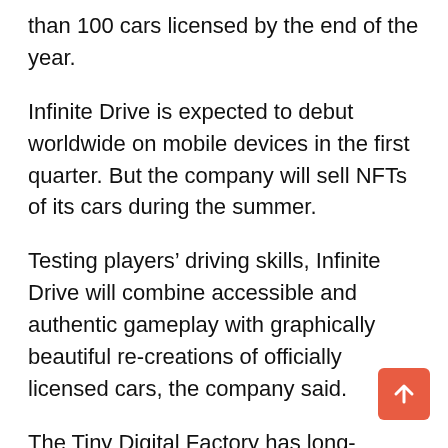than 100 cars licensed by the end of the year.
Infinite Drive is expected to debut worldwide on mobile devices in the first quarter. But the company will sell NFTs of its cars during the summer.
Testing players’ driving skills, Infinite Drive will combine accessible and authentic gameplay with graphically beautiful re-creations of officially licensed cars, the company said.
The Tiny Digital Factory has long-standing relationships with world-class carmakers such as McLaren, Porsche, Mercedes AMG, and Ford, while Infinite Drive’s showroom already includes high performance cars from Renault, Alpine, Ruf